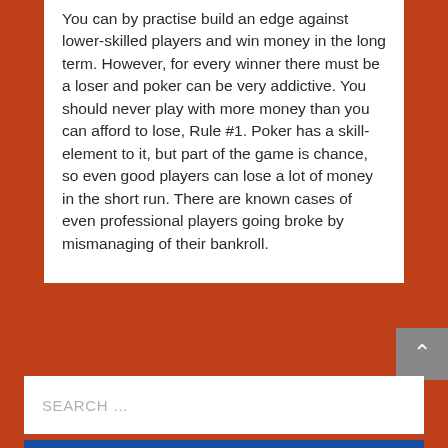You can by practise build an edge against lower-skilled players and win money in the long term. However, for every winner there must be a loser and poker can be very addictive. You should never play with more money than you can afford to lose, Rule #1. Poker has a skill-element to it, but part of the game is chance, so even good players can lose a lot of money in the short run. There are known cases of even professional players going broke by mismanaging of their bankroll.